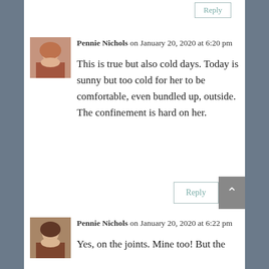[Figure (other): Reply button at top right]
[Figure (photo): Avatar photo of Pennie Nichols - woman with blonde hair]
Pennie Nichols on January 20, 2020 at 6:20 pm
This is true but also cold days. Today is sunny but too cold for her to be comfortable, even bundled up, outside. The confinement is hard on her.
[Figure (other): Reply button]
[Figure (photo): Avatar photo of Pennie Nichols - woman with dark hair]
Pennie Nichols on January 20, 2020 at 6:22 pm
Yes, on the joints. Mine too! But the